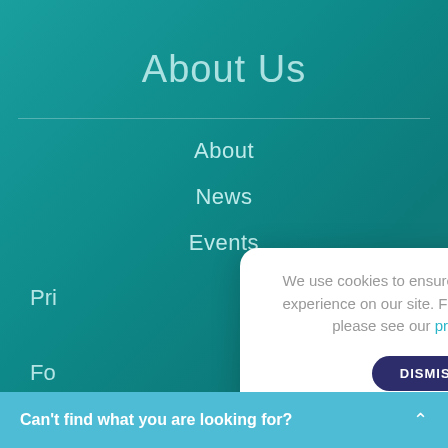About Us
About
News
Events
Pri...
Fo...
We use cookies to ensure you have the best experience on our site. For more information please see our privacy policy.
DISMISS
Can't find what you are looking for?